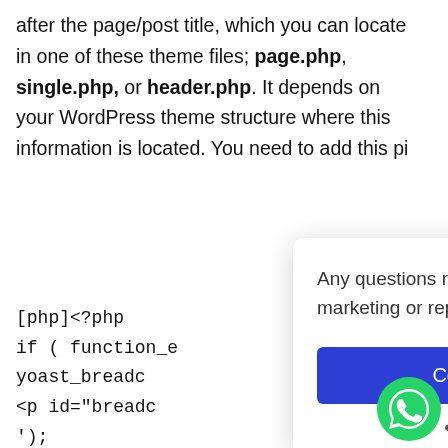after the page/post title, which you can locate in one of these theme files; page.php, single.php, or header.php. It depends on your WordPress theme structure where this information is located. You need to add this pi
[php]<?php
if ( function_e
yoast_breadc
<p id="breadc
');
}
?>
[/php]
[Figure (infographic): A modal popup overlay with text 'Any questions related to digital marketing or reputation management?' and a blue 'Contact now' button and '● Online now' text. A close (X) button in top right corner.]
[Figure (illustration): WhatsApp green circular button in the bottom right corner with the WhatsApp logo icon.]